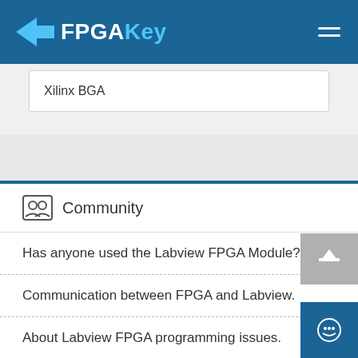FPGAKey
Xilinx BGA
Community
Has anyone used the Labview FPGA Module?
Communication between FPGA and Labview.
About Labview FPGA programming issues.
How to realize FPGA synthesis of SoC verification platform?
What is the difference between SoC, MCU and FPG...